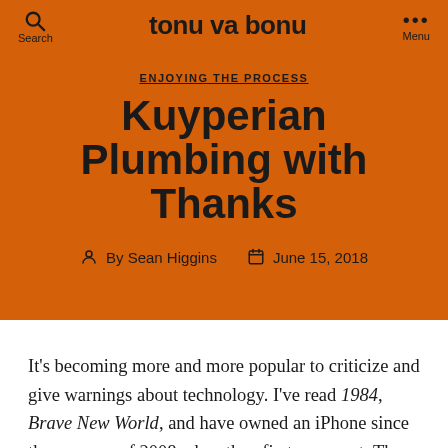tonu va bonu
ENJOYING THE PROCESS
Kuyperian Plumbing with Thanks
By Sean Higgins   June 15, 2018
It’s becoming more and more popular to criticize and give warnings about technology. I’ve read 1984, Brave New World, and have owned an iPhone since the summer of 2008 when they first came out. There are certainly problems that exist. Our smartphones can distract us